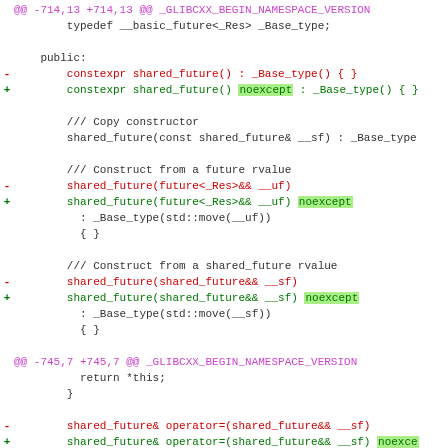[Figure (screenshot): Git diff view of C++ source code showing additions of noexcept specifiers to shared_future constructors and operators in a libstdc++ header file. Pink/red lines are deletions, green lines are additions, purple lines are hunk headers. Highlighted green background on 'noexcept' keyword in added lines.]